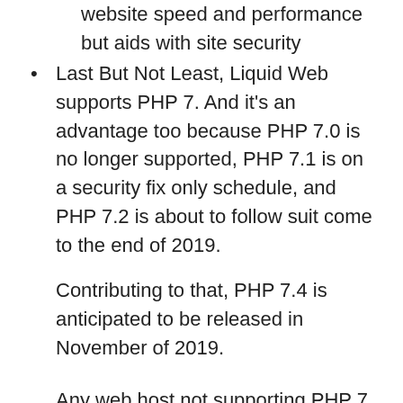Last But Not Least, Liquid Web supports PHP 7. And it’s an advantage too because PHP 7.0 is no longer supported, PHP 7.1 is on a security fix only schedule, and PHP 7.2 is about to follow suit come to the end of 2019.
Contributing to that, PHP 7.4 is anticipated to be released in November of 2019.
Any web host not supporting PHP 7 doesn’t have your website speed and performance in mind.